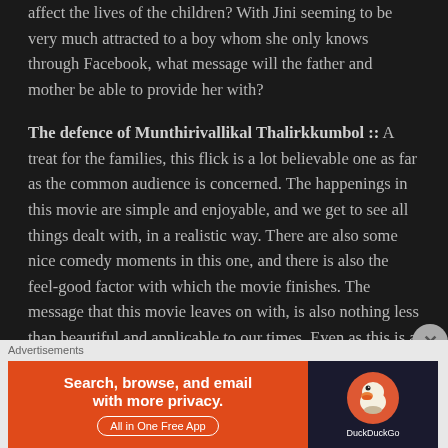affect the lives of the children? With Jini seeming to be very much attracted to a boy whom she only knows through Facebook, what message will the father and mother be able to provide her with?
The defence of Munthirivallikal Thalirkkumbol :: A treat for the families, this flick is a lot believable one as far as the common audience is concerned. The happenings in this movie are simple and enjoyable, and we get to see all things dealt with, in a realistic way. There are also some nice comedy moments in this one, and there is also the feel-good factor with which the movie finishes. The message that this movie leaves on with, is also nothing less than beautiful and applicable to our times. Even as this is a family drama flick, there is nothing like the possible melodrama in this one too. The movie is certainly in control of the emotions and keeps them in control to make sure that we
Advertisements
[Figure (other): DuckDuckGo advertisement banner: orange section reads 'Search, browse, and email with more privacy. All in One Free App' with dark section showing DuckDuckGo logo and name.]